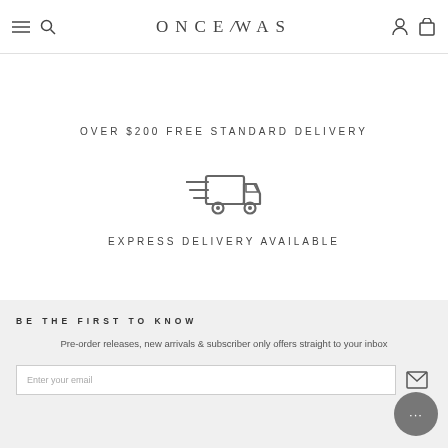ONCE WAS — navigation header with menu, search, account, and cart icons
OVER $200 FREE STANDARD DELIVERY
[Figure (illustration): Delivery truck icon with speed lines]
EXPRESS DELIVERY AVAILABLE
BE THE FIRST TO KNOW
Pre-order releases, new arrivals & subscriber only offers straight to your inbox
Enter your email